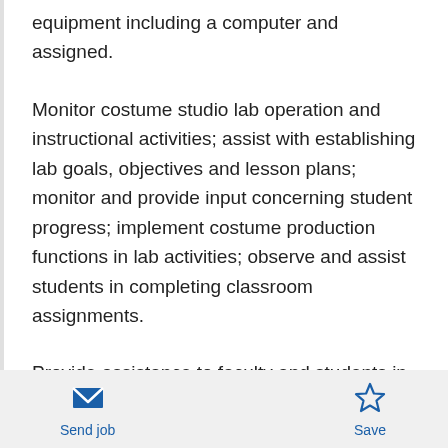equipment including a computer and assigned.
Monitor costume studio lab operation and instructional activities; assist with establishing lab goals, objectives and lesson plans; monitor and provide input concerning student progress; implement costume production functions in lab activities; observe and assist students in completing classroom assignments.
Provide assistance to faculty and students in the use of costume and make-up materials; respond to
Send job  Save